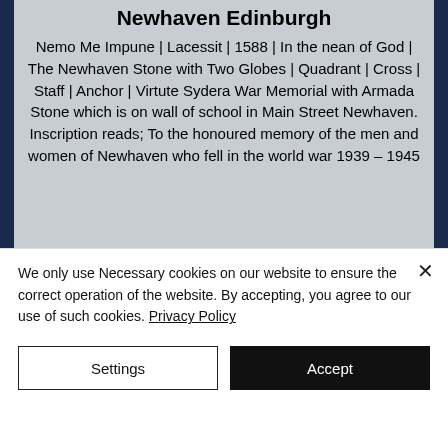Newhaven Edinburgh
Nemo Me Impune | Lacessit | 1588 | In the nean of God | The Newhaven Stone with Two Globes | Quadrant | Cross | Staff | Anchor | Virtute Sydera War Memorial with Armada Stone which is on wall of school in Main Street Newhaven. Inscription reads; To the honoured memory of the men and women of Newhaven who fell in the world war 1939 – 1945
[Figure (photo): Partially visible dark photograph of a stone or monument]
We only use Necessary cookies on our website to ensure the correct operation of the website. By accepting, you agree to our use of such cookies. Privacy Policy
Settings
Accept